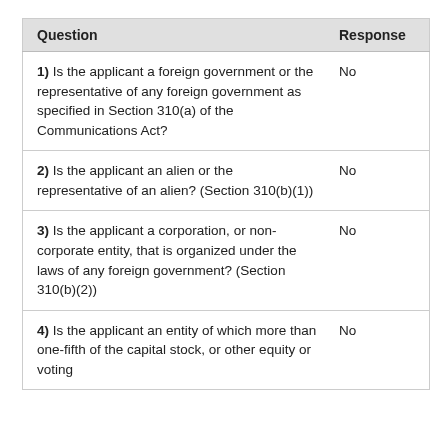| Question | Response |
| --- | --- |
| 1) Is the applicant a foreign government or the representative of any foreign government as specified in Section 310(a) of the Communications Act? | No |
| 2) Is the applicant an alien or the representative of an alien? (Section 310(b)(1)) | No |
| 3) Is the applicant a corporation, or non-corporate entity, that is organized under the laws of any foreign government? (Section 310(b)(2)) | No |
| 4) Is the applicant an entity of which more than one-fifth of the capital stock, or other equity or voting | No |